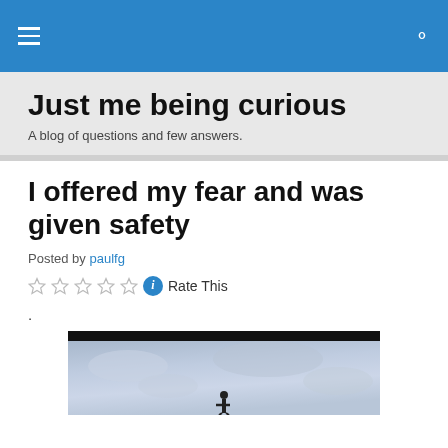Just me being curious — A blog of questions and few answers.
Just me being curious
A blog of questions and few answers.
I offered my fear and was given safety
Posted by paulfg
Rate This
.
[Figure (photo): A silhouette figure against a cloudy blue-grey sky, with a dark bar across the top of the image.]